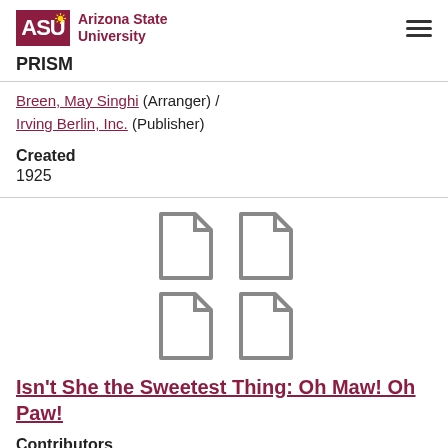ASU Arizona State University | PRISM
Breen, May Singhi (Arranger) / Irving Berlin, Inc. (Publisher)
Created
1925
[Figure (illustration): A 2x2 grid of document/page icons in gray outline style]
Isn't She the Sweetest Thing: Oh Maw! Oh Paw!
Contributors